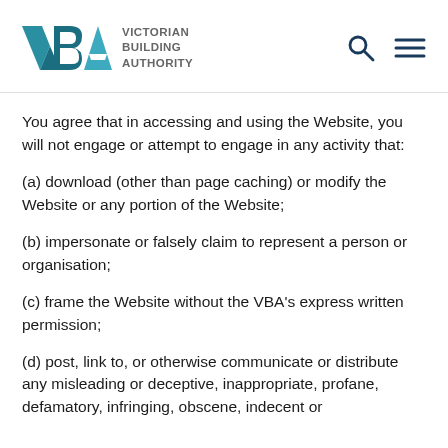Victorian Building Authority
You agree that in accessing and using the Website, you will not engage or attempt to engage in any activity that:
(a) download (other than page caching) or modify the Website or any portion of the Website;
(b) impersonate or falsely claim to represent a person or organisation;
(c) frame the Website without the VBA's express written permission;
(d) post, link to, or otherwise communicate or distribute any misleading or deceptive, inappropriate, profane, defamatory, infringing, obscene, indecent or unlawful material or information on the in or through the